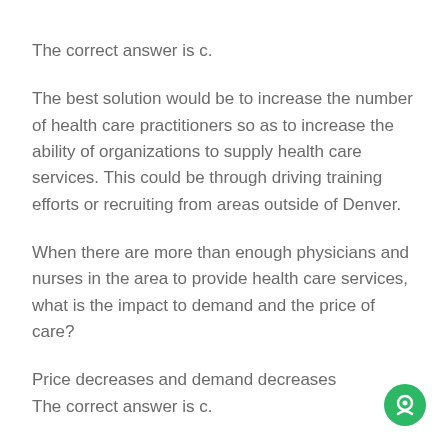The correct answer is c.
The best solution would be to increase the number of health care practitioners so as to increase the ability of organizations to supply health care services. This could be through driving training efforts or recruiting from areas outside of Denver.
When there are more than enough physicians and nurses in the area to provide health care services, what is the impact to demand and the price of care?
Price decreases and demand decreases
The correct answer is c.